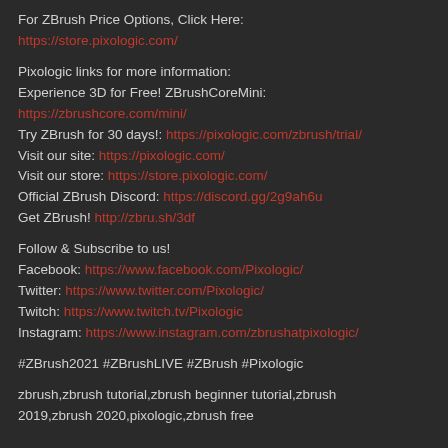For ZBrush Price Options, Click Here:
https://store.pixologic.com/
Pixologic links for more information:
Experience 3D for Free! ZBrushCoreMini:
https://zbrushcore.com/mini/
Try ZBrush for 30 days!: https://pixologic.com/zbrush/trial/
Visit our site: https://pixologic.com/
Visit our store: https://store.pixologic.com/
Official ZBrush Discord: https://discord.gg/2g9ah6u
Get ZBrush! http://zbru.sh/3df
Follow & Subscribe to us!
Facebook: https://www.facebook.com/Pixologic/
Twitter: https://www.twitter.com/Pixologic/
Twitch: https://www.twitch.tv/Pixologic
Instagram: https://www.instagram.com/zbrushatpixologic/
#ZBrush2021 #ZBrushLIVE #ZBrush #Pixologic
zbrush,zbrush tutorial,zbrush beginner tutorial,zbrush 2019,zbrush 2020,pixologic,zbrush free